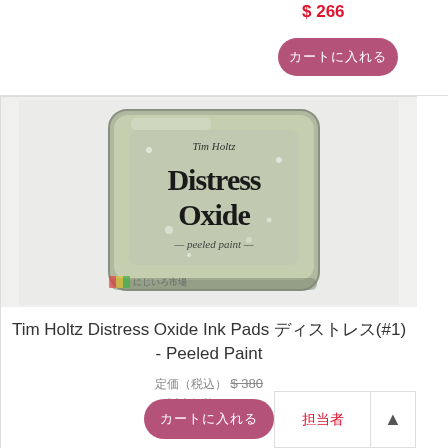[Figure (screenshot): Top add-to-cart button area with pink/rose rounded button containing Japanese text]
[Figure (photo): Photo of Tim Holtz Distress Oxide Ink Pad in Peeled Paint color – a square metal tin with grey/green mottled oxide ink pad]
Tim Holtz Distress Oxide Ink Pads ディストレス(#1) - Peeled Paint
定価（税込） $ 380
販売価格 $ 266
会員価格 $ 266
カートに入れる (bottom button)
担当者 (chat label)